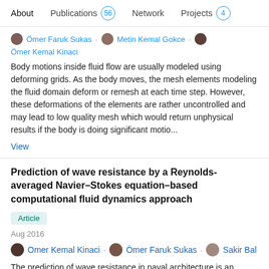About | Publications 56 | Network | Projects 4
Ömer Faruk Sukas · Metin Kemal Gokce · Ömer Kemal Kinaci
Body motions inside fluid flow are usually modeled using deforming grids. As the body moves, the mesh elements modeling the fluid domain deform or remesh at each time step. However, these deformations of the elements are rather uncontrolled and may lead to low quality mesh which would return unphysical results if the body is doing significant motio...
View
Prediction of wave resistance by a Reynolds-averaged Navier–Stokes equation–based computational fluid dynamics approach
Article
Aug 2016
Omer Kemal Kinaci · Ömer Faruk Sukas · Sakir Bal
The prediction of wave resistance in naval architecture is an important aspect especially at high Froude numbers where a